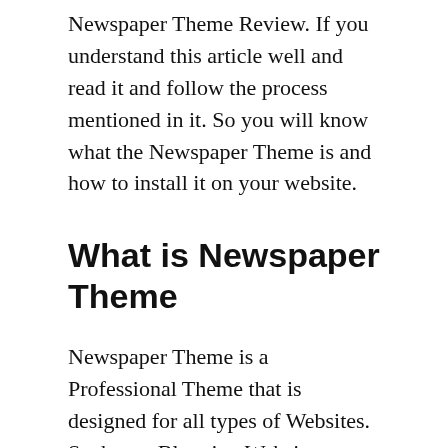Newspaper Theme Review. If you understand this article well and read it and follow the process mentioned in it. So you will know what the Newspaper Theme is and how to install it on your website.
What is Newspaper Theme
Newspaper Theme is a Professional Theme that is designed for all types of Websites. Such as – Blogging Websites, WooCommerce websites, Online Shopping websites, Newspapers or Magazine websites, etc.
You get many features in Newspaper Theme and when you install this theme, you also get